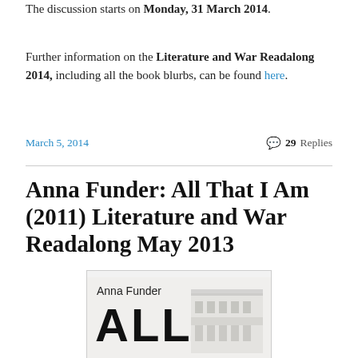The discussion starts on Monday, 31 March 2014.
Further information on the Literature and War Readalong 2014, including all the book blurbs, can be found here.
March 5, 2014
💬 29 Replies
Anna Funder: All That I Am (2011) Literature and War Readalong May 2013
[Figure (photo): Book cover of 'All That I Am' by Anna Funder, showing the author name 'Anna Funder' and large bold text 'ALL' with a building in the background]